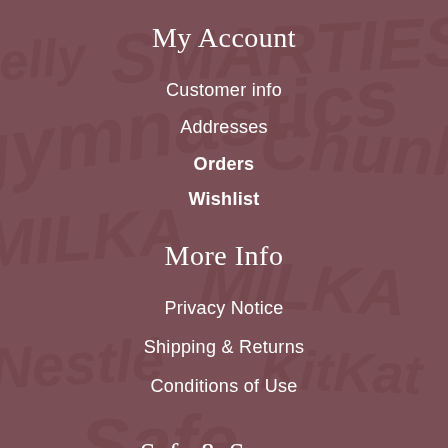My Account
Customer info
Addresses
Orders
Wishlist
More Info
Privacy Notice
Shipping & Returns
Conditions of Use
Safe & Secure